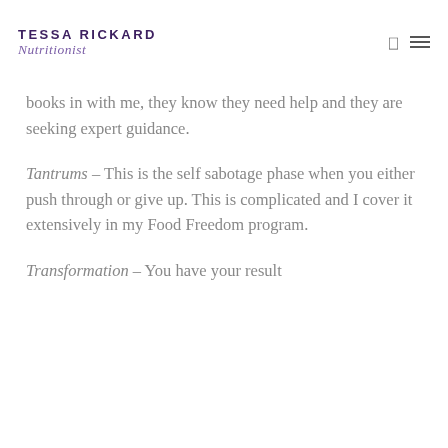TESSA RICKARD Nutritionist
books in with me, they know they need help and they are seeking expert guidance.
Tantrums – This is the self sabotage phase when you either push through or give up. This is complicated and I cover it extensively in my Food Freedom program.
Transformation – You have your result